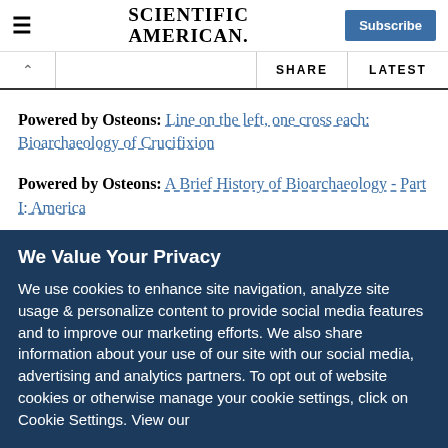Scientific American — Subscribe
Powered by Osteons: Line on the left, one cross each: Bioarchaeology of Crucifixion
Powered by Osteons: A Brief History of Bioarchaeology - Part I: America
We Value Your Privacy
We use cookies to enhance site navigation, analyze site usage & personalize content to provide social media features and to improve our marketing efforts. We also share information about your use of our site with our social media, advertising and analytics partners. To opt out of website cookies or otherwise manage your cookie settings, click on Cookie Settings. View our